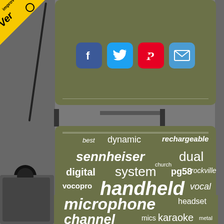[Figure (infographic): Word cloud infographic on olive green background with social share icons (Facebook, Twitter, Pinterest, Email). Words related to wireless microphones: best, dynamic, rechargeable, sennheiser, dual, church, digital, system, pg58, rockville, vocopro, handheld, vocal, shure, beta, receiver, microphones, sm58, band, review, cordless, stage, microphone, headset, channel, mics, karaoke, metal, and more.]
[Figure (logo): Yellow corner badge with 'improved Ver' text and a version indicator icon]